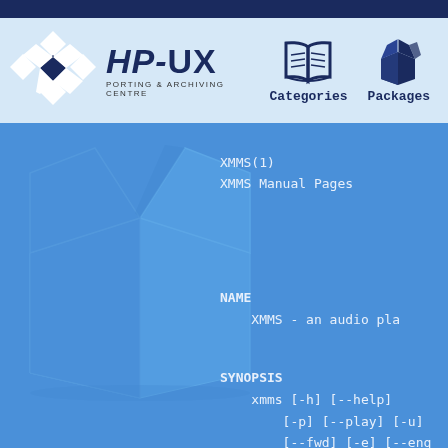[Figure (logo): HP-UX Porting & Archiving Centre logo with cross/diamond shape and text]
[Figure (illustration): Open book icon for Categories navigation]
[Figure (illustration): Open box/package icon for Packages navigation]
Categories
Packages
[Figure (illustration): Large open cardboard box watermark illustration]
XMMS(1)
XMMS Manual Pages
NAME
    XMMS - an audio pla
SYNOPSIS
    xmms [-h] [--help]
        [-p] [--play] [-u]
        [--fwd] [-e] [--enq
        [-A] [--toggle-adva
        <session id>] [--sm
        [filename]...